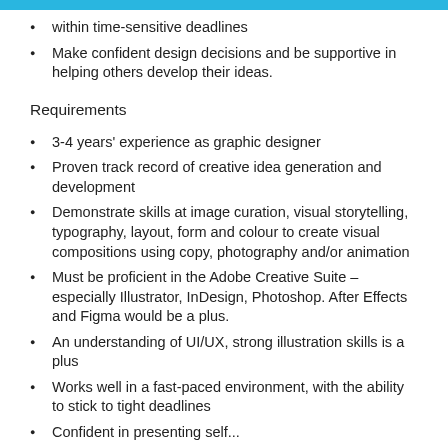within time-sensitive deadlines
Make confident design decisions and be supportive in helping others develop their ideas.
Requirements
3-4 years' experience as graphic designer
Proven track record of creative idea generation and development
Demonstrate skills at image curation, visual storytelling, typography, layout, form and colour to create visual compositions using copy, photography and/or animation
Must be proficient in the Adobe Creative Suite – especially Illustrator, InDesign, Photoshop. After Effects and Figma would be a plus.
An understanding of UI/UX, strong illustration skills is a plus
Works well in a fast-paced environment, with the ability to stick to tight deadlines
Confident in presenting self...